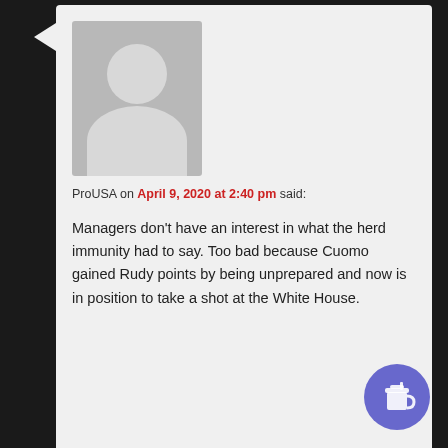[Figure (screenshot): User comment from ProUSA on April 9, 2020 at 2:40 pm with avatar placeholder image and reaction emoji buttons]
ProUSA on April 9, 2020 at 2:40 pm said:
Managers don't have an interest in what the herd immunity had to say. Too bad because Cuomo gained Rudy points by being unprepared and now is in position to take a shot at the White House.
[Figure (screenshot): User comment from The Wild Geese Howard on April 9, 2020 at 2:19 pm with avatar placeholder image]
The Wild Geese Howard on April 9, 2020 at 2:19 pm said:
Anyone also noticing that the Megaphone is...